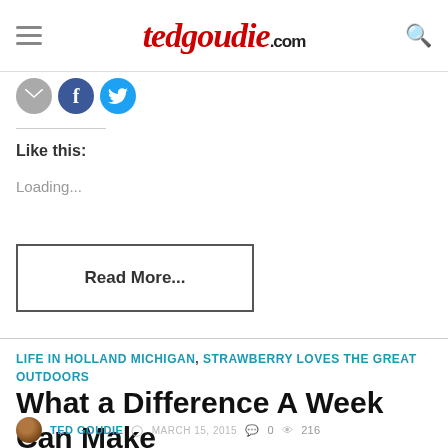tedgoudie.com
Like this:
Loading...
Read More...
LIFE IN HOLLAND MICHIGAN, STRAWBERRY LOVES THE GREAT OUTDOORS
What a Difference A Week Can Make
TED GOUDIE  MARCH 15, 2015  0  216